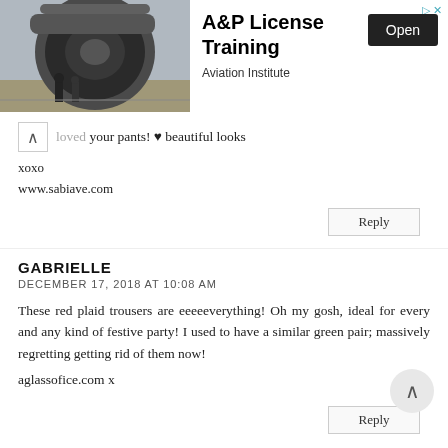[Figure (photo): Advertisement banner: photo of jet engine with workers, text 'A&P License Training', 'Aviation Institute', and an 'Open' button]
loved your pants! ♥ beautiful looks
xoxo
www.sabiave.com
Reply
GABRIELLE
DECEMBER 17, 2018 AT 10:08 AM
These red plaid trousers are eeeeeverything! Oh my gosh, ideal for every and any kind of festive party! I used to have a similar green pair; massively regretting getting rid of them now!
aglassofice.com x
Reply